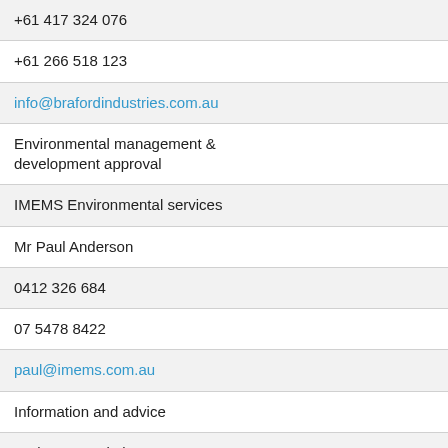| +61 417 324 076 |
| +61 266 518 123 |
| info@brafordindustries.com.au |
| Environmental management & development approval |
| IMEMS Environmental services |
| Mr Paul Anderson |
| 0412 326 684 |
| 07 5478 8422 |
| paul@imems.com.au |
| Information and advice |
| Jack Norton Timber Protection |